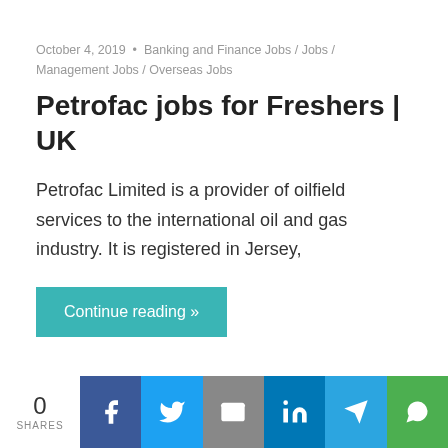October 4, 2019  •  Banking and Finance Jobs / Jobs / Management Jobs / Overseas Jobs
Petrofac jobs for Freshers | UK
Petrofac Limited is a provider of oilfield services to the international oil and gas industry. It is registered in Jersey,
Continue reading »
0 SHARES | Facebook | Twitter | Email | LinkedIn | Telegram | WhatsApp